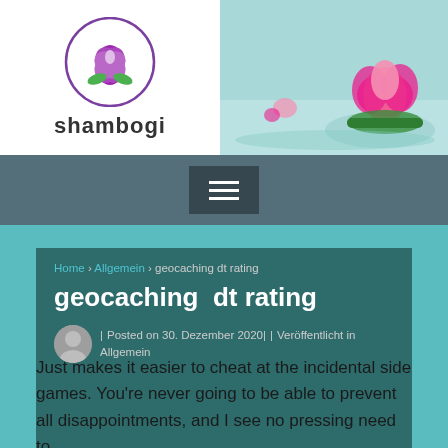[Figure (logo): Shambogi website logo with purple lotus flower icon and text 'shambogi' below]
[Figure (photo): Pink lotus flower floating in water on the right side of the header banner]
[Figure (other): Hamburger menu button (three horizontal white lines) on dark grey navigation bar]
Home › Allgemein › geocaching dt rating
geocaching dt rating
| Posted on 30. Dezember 2020| | Veröffentlicht in Allgemein
Just makes it easier to cheat at the incidental side games. You're never going to be able to prevent all disappointments, and I see no pressing need to